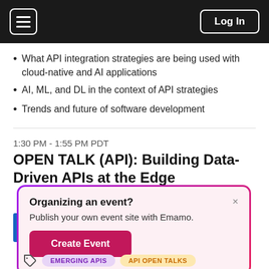Log In
What API integration strategies are being used with cloud-native and AI applications
AI, ML, and DL in the context of API strategies
Trends and future of software development
1:30 PM - 1:55 PM PDT
OPEN TALK (API): Building Data-Driven APIs at the Edge
Organizing an event?
Publish your own event site with Emamo.
Create Event
EMERGING APIS   API OPEN TALKS